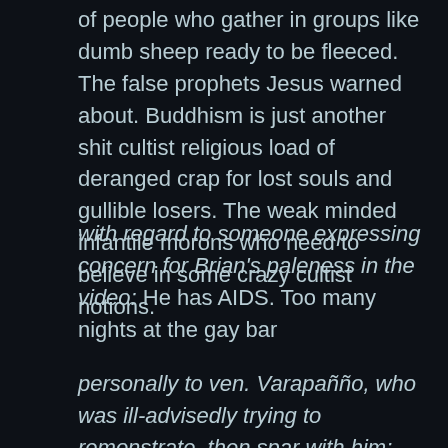of people who gather in groups like dumb sheep ready to be fleeced. The false prophets Jesus warned about. Buddhism is just another shit cultist religious load of deranged crap for lost souls and gullible losers. The weak minded infantile morons who need to believe in some crazy cultist notions.
with regard to someone expressing concern for Brian's paleness in the video: He has AIDS. Too many nights at the gay bar
personally to ven. Varapañño, who was ill-advisedly trying to remonstrate, then spar with him: You have